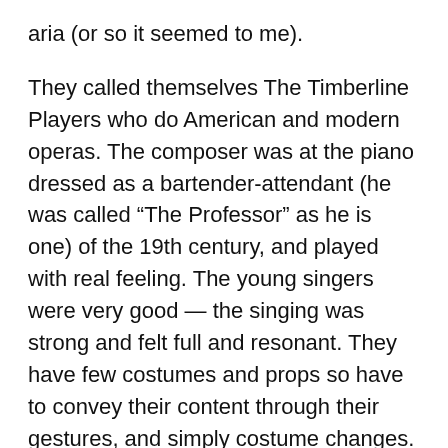aria (or so it seemed to me).
They called themselves The Timberline Players who do American and modern operas. The composer was at the piano dressed as a bartender-attendant (he was called “The Professor” as he is one) of the 19th century, and played with real feeling. The young singers were very good — the singing was strong and felt full and resonant. They have few costumes and props so have to convey their content through their gestures, and simply costume changes. It was a moving mesmerizing hour in a church assembly room. I liked how the characters turned to one another, and gradually it was clear there was no real difference between the women called whores and the newly married woman.
Most events are no more than one hour, and time